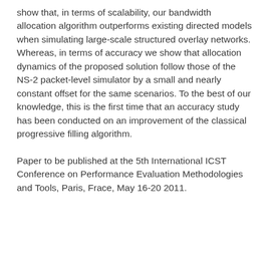show that, in terms of scalability, our bandwidth allocation algorithm outperforms existing directed models when simulating large-scale structured overlay networks. Whereas, in terms of accuracy we show that allocation dynamics of the proposed solution follow those of the NS-2 packet-level simulator by a small and nearly constant offset for the same scenarios. To the best of our knowledge, this is the first time that an accuracy study has been conducted on an improvement of the classical progressive filling algorithm.
Paper to be published at the 5th International ICST Conference on Performance Evaluation Methodologies and Tools, Paris, Frace, May 16-20 2011.